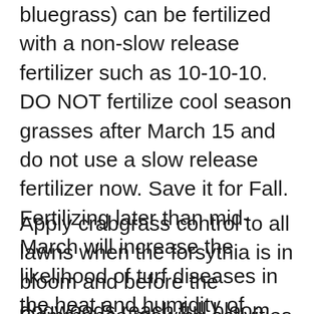bluegrass) can be fertilized with a non-slow release fertilizer such as 10-10-10. DO NOT fertilize cool season grasses after March 15 and do not use a slow release fertilizer now. Save it for Fall. Fertilizing later than mid-March will increase the likelihood of turf diseases in the heat and humidity of summer.
Apply crabgrass control to all lawns when the forsythia is in bloom and before the dogwoods reach full bloom.
Commence mowing activities when you can do so without losing your mower in the mud. Cool season grasses should be mowed at a height between three and four inches. Warm season